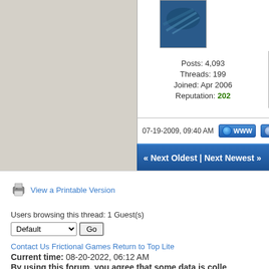[Figure (photo): Partial avatar image of a forum user, appears to be a dark blue photo of what might be tools or objects]
Posts: 4,093
Threads: 199
Joined: Apr 2006
Reputation: 202
07-19-2009, 09:40 AM
« Next Oldest | Next Newest »
View a Printable Version
Users browsing this thread: 1 Guest(s)
Contact Us  Frictional Games  Return to Top  Lite
Current time: 08-20-2022, 06:12 AM
By using this forum, you agree that some data is colle
Powered By MyBB, © 2002-2022 MyBB Group.